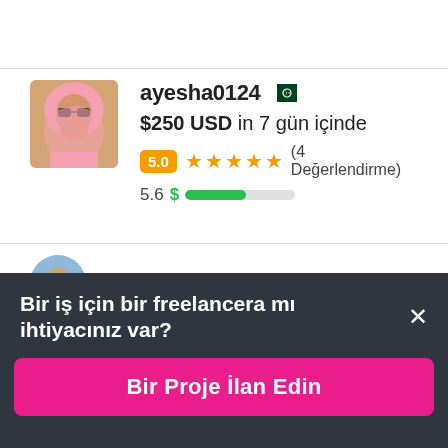[Figure (screenshot): Profile card for freelancer ayesha0124 with Pakistan flag, avatar photo of woman with pink hijab and sunglasses, bid of $250 USD in 7 gün içinde, rating badge 5.0 with 5 orange stars and (4 Değerlendirme), completion score 5.6 with green progress bar]
Bir iş için bir freelancera mı ihtiyacınız var? ×
Bir Proje İlan Edin